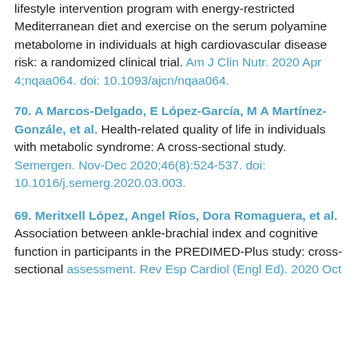lifestyle intervention program with energy-restricted Mediterranean diet and exercise on the serum polyamine metabolome in individuals at high cardiovascular disease risk: a randomized clinical trial. Am J Clin Nutr. 2020 Apr 4;nqaa064. doi: 10.1093/ajcn/nqaa064.
70. A Marcos-Delgado, E López-García, M A Martínez-Gonzále, et al. Health-related quality of life in individuals with metabolic syndrome: A cross-sectional study. Semergen. Nov-Dec 2020;46(8):524-537. doi: 10.1016/j.semerg.2020.03.003.
69. Meritxell López, Angel Ríos, Dora Romaguera, et al. Association between ankle-brachial index and cognitive function in participants in the PREDIMED-Plus study: cross-sectional assessment. Rev Esp Cardiol (Engl Ed). 2020 Oct...